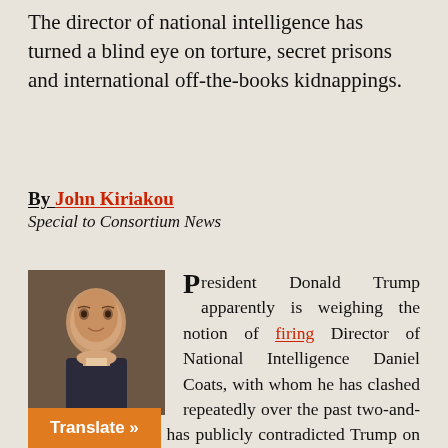The director of national intelligence has turned a blind eye on torture, secret prisons and international off-the-books kidnappings.
By John Kiriakou
Special to Consortium News
[Figure (photo): Headshot photo of a man in a dark suit, smiling, against a dark background]
President Donald Trump apparently is weighing the notion of firing Director of National Intelligence Daniel Coats, with whom he has clashed repeatedly over the past two-and-a-half years. Coats has publicly contradicted Trump on multiple occasions, incurring his wrath, but reportedly kept his job because of support from Vice President Mike Pence, a fellow Indianan. According to some press